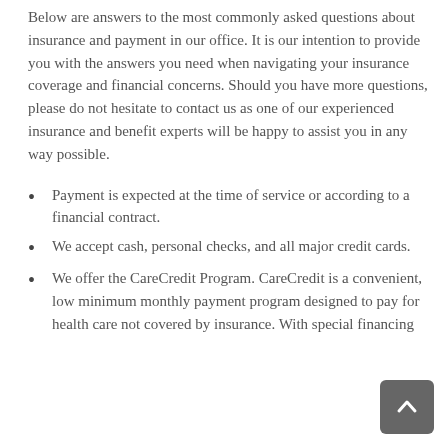Below are answers to the most commonly asked questions about insurance and payment in our office. It is our intention to provide you with the answers you need when navigating your insurance coverage and financial concerns. Should you have more questions, please do not hesitate to contact us as one of our experienced insurance and benefit experts will be happy to assist you in any way possible.
Payment is expected at the time of service or according to a financial contract.
We accept cash, personal checks, and all major credit cards.
We offer the CareCredit Program. CareCredit is a convenient, low minimum monthly payment program designed to pay for health care not covered by insurance. With special financing